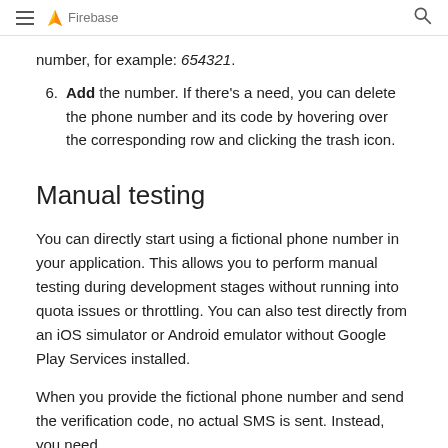Firebase
number, for example: 654321.
Add the number. If there's a need, you can delete the phone number and its code by hovering over the corresponding row and clicking the trash icon.
Manual testing
You can directly start using a fictional phone number in your application. This allows you to perform manual testing during development stages without running into quota issues or throttling. You can also test directly from an iOS simulator or Android emulator without Google Play Services installed.
When you provide the fictional phone number and send the verification code, no actual SMS is sent. Instead, you need to provide the custom code for completing the authentication.